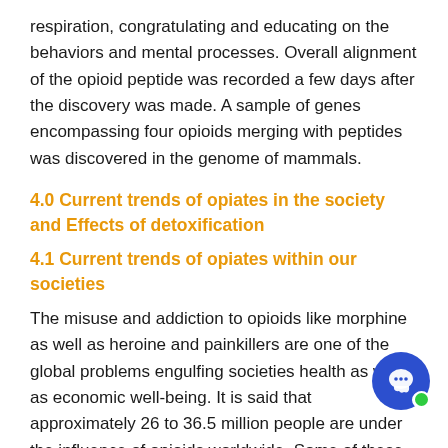respiration, congratulating and educating on the behaviors and mental processes. Overall alignment of the opioid peptide was recorded a few days after the discovery was made. A sample of genes encompassing four opioids merging with peptides was discovered in the genome of mammals.
4.0 Current trends of opiates in the society and Effects of detoxification
4.1 Current trends of opiates within our societies
The misuse and addiction to opioids like morphine as well as heroine and painkillers are one of the global problems engulfing societies health as well as economic well-being. It is said that approximately 26 to 36.5 million people are under the influence of opioids worldwide. Some of these addicts have been diagnosed to have brain disorders resulting in many